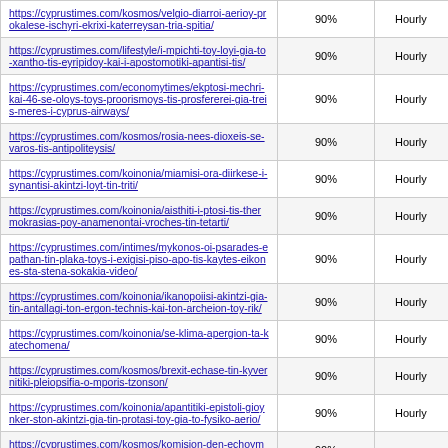| https://cyprustimes.com/kosmos/velgio-diarroi-aerioy-prokalese-ischyri-ekrixi-katerreysan-tria-spitia/ | 90% | Hourly |
| https://cyprustimes.com/lifestyle/i-mpichti-toy-loyi-gia-to-xantho-tis-eyripidoy-kai-i-apostomotiki-apantisi-tis/ | 90% | Hourly |
| https://cyprustimes.com/economytimes/ekptosi-mechri-kai-46-se-oloys-toys-proorismoys-tis-prosfererei-gia-treis-meres-i-cyprus-airways/ | 90% | Hourly |
| https://cyprustimes.com/kosmos/rosia-nees-dioxeis-se-varos-tis-antipoliteysis/ | 90% | Hourly |
| https://cyprustimes.com/koinonia/miamisi-ora-diirkese-i-synantisi-akintzi-loyt-tin-triti/ | 90% | Hourly |
| https://cyprustimes.com/koinonia/aisthiti-i-ptosi-tis-thermokrasias-poy-anamenontai-vroches-tin-tetarti/ | 90% | Hourly |
| https://cyprustimes.com/intimes/mykonos-oi-psarades-epathan-tin-plaka-toys-i-exigisi-piso-apo-tis-kaytes-eikones-sta-stena-sokakia-video/ | 90% | Hourly |
| https://cyprustimes.com/koinonia/ikanopoiisi-akintzi-gia-tin-antallagi-ton-ergon-technis-kai-ton-archeion-toy-rik/ | 90% | Hourly |
| https://cyprustimes.com/koinonia/se-klima-apergion-ta-katechomena/ | 90% | Hourly |
| https://cyprustimes.com/kosmos/brexit-echase-tin-kyvernitiki-pleiopsifia-o-mporis-tzonson/ | 90% | Hourly |
| https://cyprustimes.com/koinonia/apantitiki-epistoli-gioynker-ston-akintzi-gia-tin-protasi-toy-gia-to-fysiko-aerio/ | 90% | Hourly |
| https://cyprustimes.com/kosmos/komision-den-echoyme- | 90% |  |